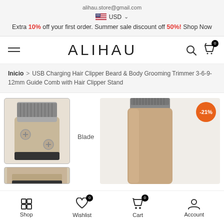alihau.store@gmail.com
USD
Extra 10% off your first order. Summer sale discount off 50%! Shop Now
ALIHAU
Inicio > USB Charging Hair Clipper Beard & Body Grooming Trimmer 3-6-9-12mm Guide Comb with Hair Clipper Stand
[Figure (photo): Product thumbnail showing hair clipper blade close-up with two screws, rose gold body. Second smaller thumbnail below showing bottom of clipper. Main large image showing full rose gold hair clipper trimmer with comb attachment and -21% discount badge.]
Shop  Wishlist  Cart  Account